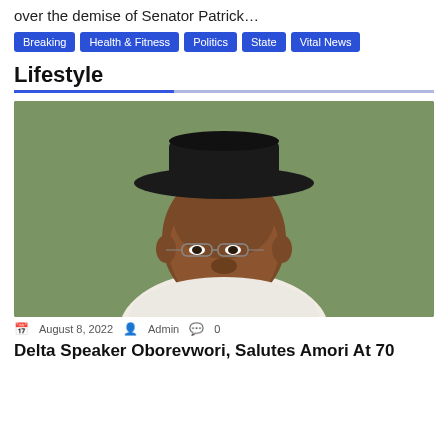over the demise of Senator Patrick…
Breaking
Health & Fitness
Politics
State
Vital News
Lifestyle
[Figure (photo): Portrait photo of a man wearing a black wide-brim hat, glasses, white traditional Nigerian attire with coral/orange beaded necklaces, smiling, against a green background.]
August 8, 2022  Admin  0
Delta Speaker Oborevwori, Salutes Amori At 70